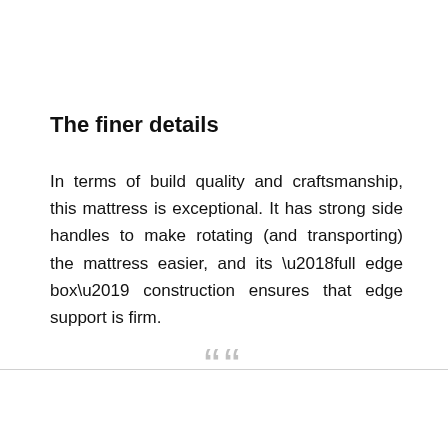The finer details
In terms of build quality and craftsmanship, this mattress is exceptional. It has strong side handles to make rotating (and transporting) the mattress easier, and its ‘full edge box’ construction ensures that edge support is firm.